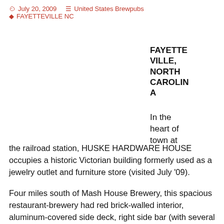July 20, 2009   United States Brewpubs   FAYETTEVILLE NC
FAYETTEVILLE, NORTH CAROLINA
In the heart of town at the railroad station, HUSKE HARDWARE HOUSE occupies a historic Victorian building formerly used as a jewelry outlet and furniture store (visited July '09).
Four miles south of Mash House Brewery, this spacious restaurant-brewery had red brick-walled interior, aluminum-covered side deck, right side bar (with several